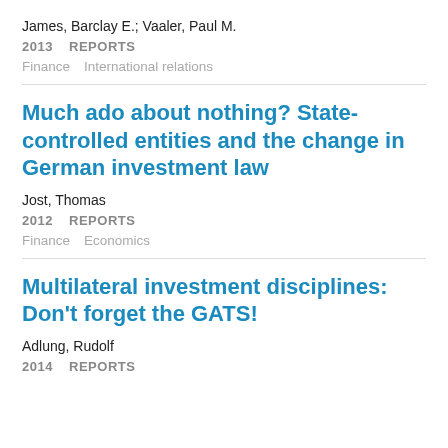James, Barclay E.; Vaaler, Paul M.
2013   REPORTS
Finance   International relations
Much ado about nothing? State-controlled entities and the change in German investment law
Jost, Thomas
2012   REPORTS
Finance   Economics
Multilateral investment disciplines: Don't forget the GATS!
Adlung, Rudolf
2014   REPORTS